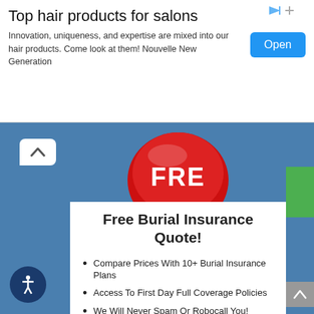Top hair products for salons
Innovation, uniqueness, and expertise are mixed into our hair products. Come look at them! Nouvelle New Generation
[Figure (infographic): Red button with FREE text on it, partially cropped at top]
Free Burial Insurance Quote!
Compare Prices With 10+ Burial Insurance Plans
Access To First Day Full Coverage Policies
We Will Never Spam Or Robocall You!
⊕ Get Your Free Quote Now!